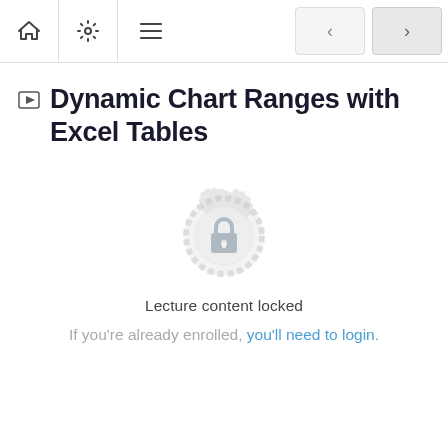Dynamic Chart Ranges with Excel Tables
Dynamic Chart Ranges with Excel Tables
[Figure (illustration): A circular badge/seal icon with a padlock in the center, rendered in light gray, indicating locked content.]
Lecture content locked
If you're already enrolled, you'll need to login.